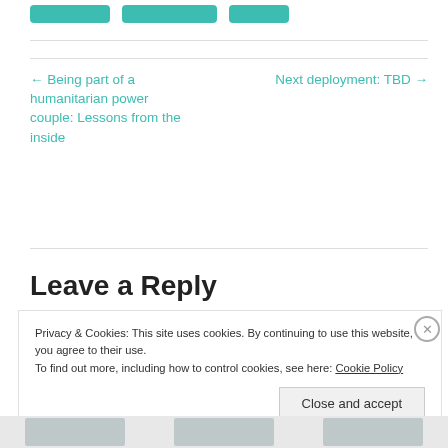← Being part of a humanitarian power couple: Lessons from the inside
Next deployment: TBD →
Leave a Reply
Privacy & Cookies: This site uses cookies. By continuing to use this website, you agree to their use. To find out more, including how to control cookies, see here: Cookie Policy
Close and accept